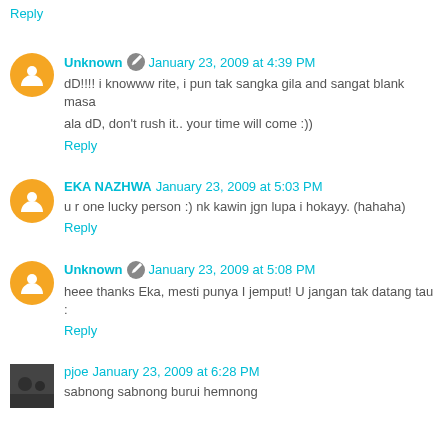Reply
Unknown · January 23, 2009 at 4:39 PM
dD!!!! i knowww rite, i pun tak sangka gila and sangat blank masa

ala dD, don't rush it.. your time will come :))
Reply
EKA NAZHWA  January 23, 2009 at 5:03 PM
u r one lucky person :) nk kawin jgn lupa i hokayy. (hahaha)
Reply
Unknown · January 23, 2009 at 5:08 PM
heee thanks Eka, mesti punya I jemput! U jangan tak datang tau :
Reply
pjoe  January 23, 2009 at 6:28 PM
sabnong sabnong burui hemnong